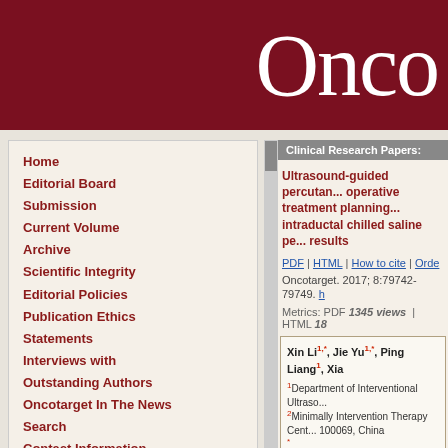Onco
Home
Editorial Board
Submission
Current Volume
Archive
Scientific Integrity
Editorial Policies
Publication Ethics Statements
Interviews with Outstanding Authors
Oncotarget In The News
Search
Contact Information
Special Collections
Clinical Research Papers:
Ultrasound-guided percutan... operative treatment planning... intraductal chilled saline pe... results
PDF | HTML | How to cite | Orde
Oncotarget. 2017; 8:79742-79749. h
Metrics: PDF 1345 views | HTML 18
Xin Li1,* , Jie Yu1,* , Ping Liang1 , Xia... 1Department of Interventional Ultraso... 2Minimally Intervention Therapy Cent... 100069, China